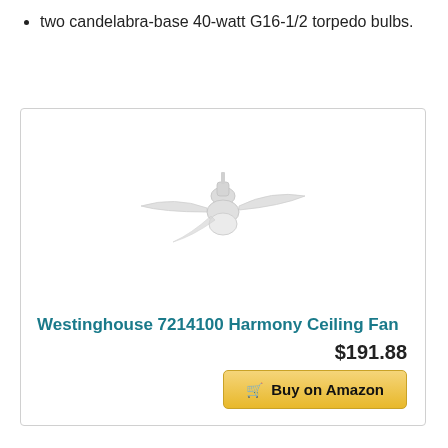two candelabra-base 40-watt G16-1/2 torpedo bulbs.
[Figure (photo): Product photo of a white ceiling fan (Westinghouse 7214100 Harmony Ceiling Fan) with two blades and a light kit, shown on a white background inside a product card.]
Westinghouse 7214100 Harmony Ceiling Fan
$191.88
Buy on Amazon